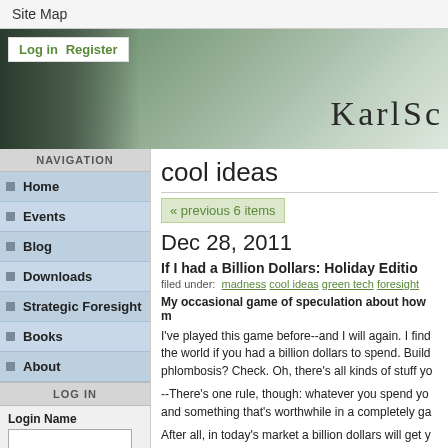Site Map
[Figure (screenshot): Website header banner with dark figure silhouette on left and site title 'KARLSC' in large serif font on right, with green-grey gradient background. Login and Register links in white box top-left.]
NAVIGATION
Home
Events
Blog
Downloads
Strategic Foresight
Books
About
LOG IN
Login Name
Password
cool ideas
« previous 6 items
Dec 28, 2011
If I had a Billion Dollars: Holiday Edition
filed under: madness cool ideas green tech foresight
My occasional game of speculation about how much you could change the world if you had a billion dollars to spend.
I've played this game before--and I will again. I find it fascinating to think about how much you could change the world if you had a billion dollars to spend. Build a ship? Check. Cure phlombosis? Check. Oh, there's all kinds of stuff you could do.
--There's one rule, though: whatever you spend your billion on has to be both fun and something that's worthwhile in a completely ga
After all, in today's market a billion dollars will get y